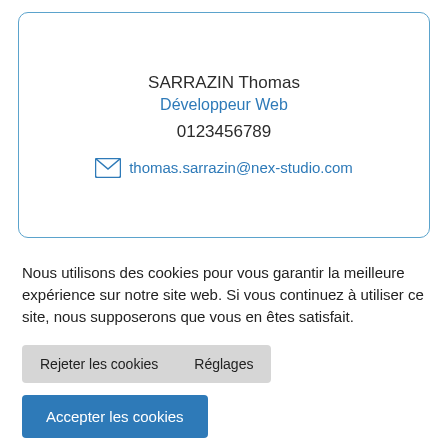[Figure (other): Contact card showing name SARRAZIN Thomas, title Développeur Web, phone 0123456789, and email thomas.sarrazin@nex-studio.com with envelope icon, inside a rounded blue-bordered box]
Nous utilisons des cookies pour vous garantir la meilleure expérience sur notre site web. Si vous continuez à utiliser ce site, nous supposerons que vous en êtes satisfait.
Rejeter les cookies   Réglages
Accepter les cookies